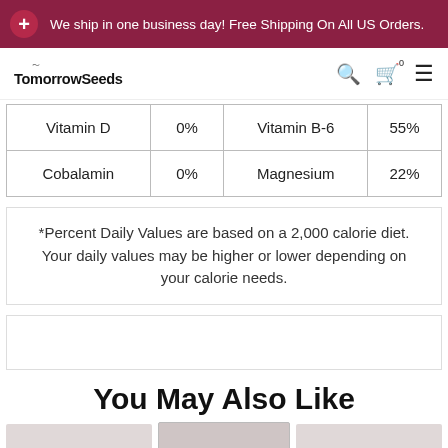We ship in one business day! Free Shipping On All US Orders.
TomorrowSeeds
| Vitamin D | 0% | Vitamin B-6 | 55% |
| Cobalamin | 0% | Magnesium | 22% |
*Percent Daily Values are based on a 2,000 calorie diet. Your daily values may be higher or lower depending on your calorie needs.
You May Also Like